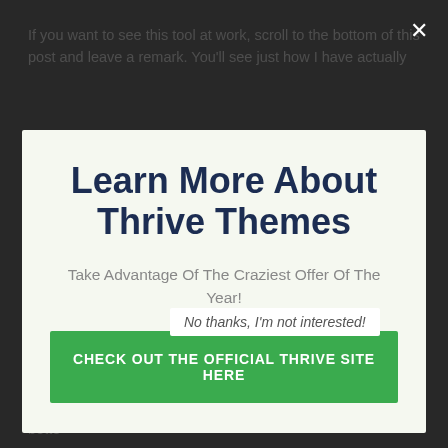If you want to see this tool at work, scroll to the bottom of this post and leave a remark. You'll see just how I have actually
[Figure (screenshot): Modal popup overlay with dark background. Contains title 'Learn More About Thrive Themes', subtitle 'Take Advantage Of The Craziest Offer Of The Year!', and a green CTA button 'CHECK OUT THE OFFICIAL THRIVE SITE HERE'. A close X button in top right corner.]
Learn More About Thrive Themes
Take Advantage Of The Craziest Offer Of The Year!
CHECK OUT THE OFFICIAL THRIVE SITE HERE
No thanks, I'm not interested!
component, such as the call to activity message or web page headline, has been changed.
You can track conversions so you can see which page does bette